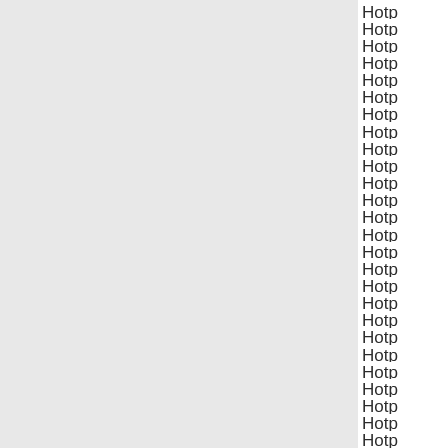Http
Http
Http
Http
Http
Http
Http
Http
Http
Http
Http
Http
Http
Http
Http
Http
Http
Http
Http
Http
Http
Http
Http
Http
Http
Http